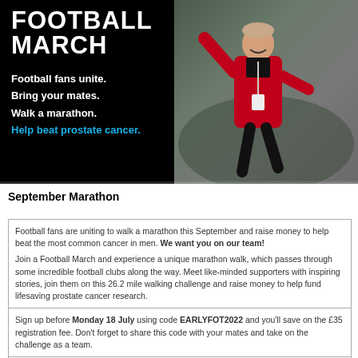[Figure (photo): Promotional banner for Football March event. Black background with large white bold text reading FOOTBALL MARCH. White text taglines: Football fans unite. Bring your mates. Walk a marathon. Help beat prostate cancer (in blue). Right side shows a photo of an older man in a red jacket walking/marching, smiling, wearing a lanyard and a black t-shirt with a charity logo.]
September Marathon
Football fans are uniting to walk a marathon this September and raise money to help beat the most common cancer in men. We want you on our team!

Join a Football March and experience a unique marathon walk, which passes through some incredible football clubs along the way. Meet like-minded supporters with inspiring stories, join them on this 26.2 mile walking challenge and raise money to help fund lifesaving prostate cancer research.
Sign up before Monday 18 July using code EARLYFOT2022 and you'll save on the £35 registration fee. Don't forget to share this code with your mates and take on the challenge as a team.
SIGN UP NOW